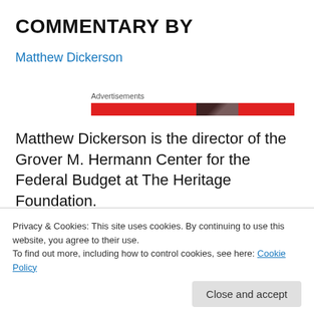COMMENTARY BY
Matthew Dickerson
[Figure (other): Advertisement bar with red background and partial image]
Matthew Dickerson is the director of the Grover M. Hermann Center for the Federal Budget at The Heritage Foundation.
Privacy & Cookies: This site uses cookies. By continuing to use this website, you agree to their use.
To find out more, including how to control cookies, see here: Cookie Policy
Close and accept